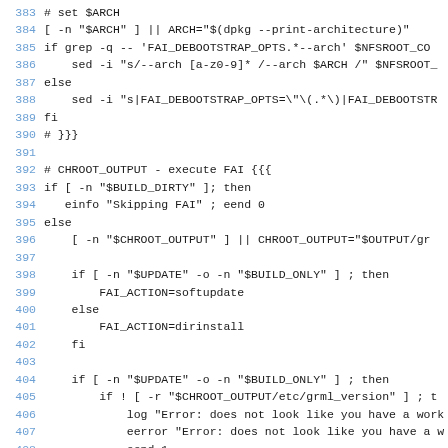Shell script code listing lines 383-409